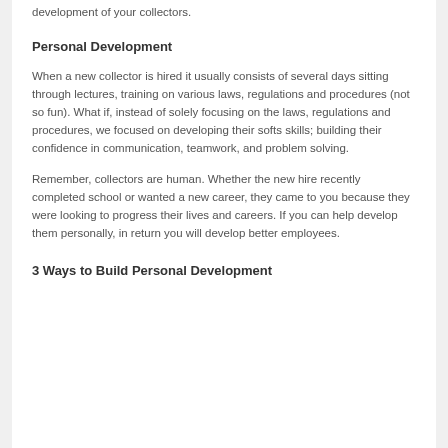development of your collectors.
Personal Development
When a new collector is hired it usually consists of several days sitting through lectures, training on various laws, regulations and procedures (not so fun). What if, instead of solely focusing on the laws, regulations and procedures, we focused on developing their softs skills; building their confidence in communication, teamwork, and problem solving.
Remember, collectors are human. Whether the new hire recently completed school or wanted a new career, they came to you because they were looking to progress their lives and careers. If you can help develop them personally, in return you will develop better employees.
3 Ways to Build Personal Development